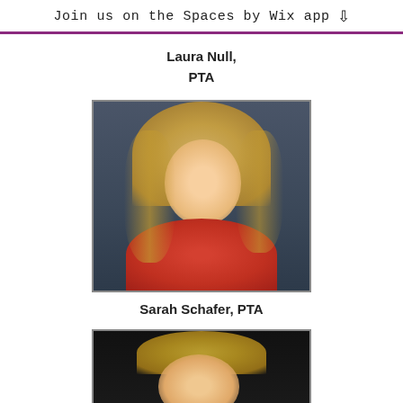Join us on the Spaces by Wix app
Laura Null,
PTA
[Figure (photo): Professional headshot of Sarah Schafer wearing a red shirt, with long blonde hair, smiling, against a dark blue-gray background]
Sarah Schafer, PTA
[Figure (photo): Partial view of a woman with blonde hair against a dark background, bottom portion of page]